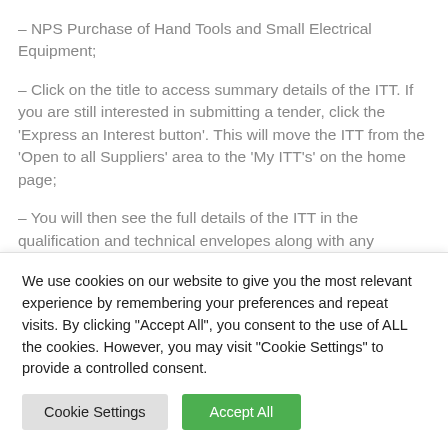– NPS Purchase of Hand Tools and Small Electrical Equipment;
– Click on the title to access summary details of the ITT. If you are still interested in submitting a tender, click the 'Express an Interest button'. This will move the ITT from the 'Open to all Suppliers' area to the 'My ITT's' on the home page;
– You will then see the full details of the ITT in the qualification and technical envelopes along with any relevant
We use cookies on our website to give you the most relevant experience by remembering your preferences and repeat visits. By clicking "Accept All", you consent to the use of ALL the cookies. However, you may visit "Cookie Settings" to provide a controlled consent.
Cookie Settings | Accept All